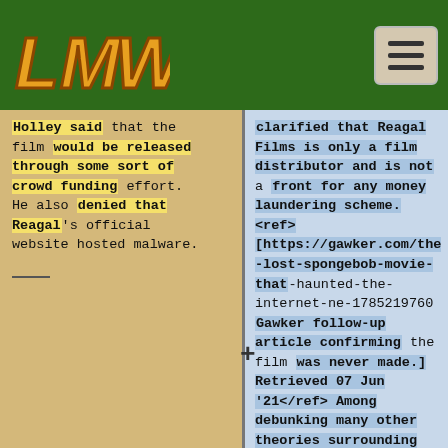LMW logo and hamburger menu
Holley said that the film would be released through some sort of crowd funding effort. He also denied that Reagal's official website hosted malware.
clarified that Reagal Films is only a film distributor and is not a front for any money laundering scheme.<ref>[https://gawker.com/the-lost-spongebob-movie-that-haunted-the-internet-ne-1785219760 Gawker follow-up article confirming the film was never made.] Retrieved 07 Jun '21</ref> Among debunking many other theories surrounding the film's search effort, he also released five